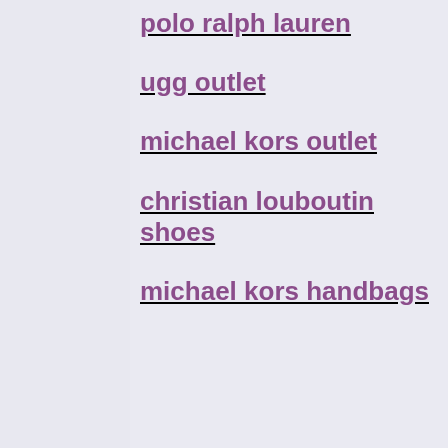polo ralph lauren
ugg outlet
michael kors outlet
christian louboutin shoes
michael kors handbags